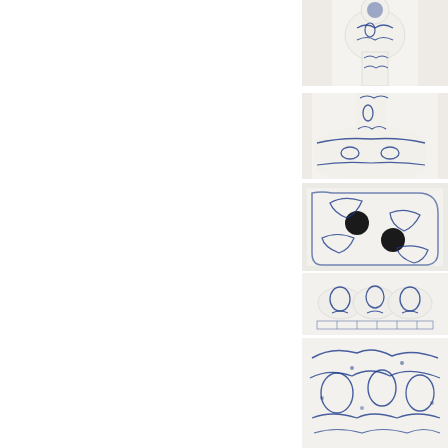[Figure (photo): Close-up of the top portion of a blue and white Chinese porcelain vase showing a rounded mushroom-shaped mouth and neck with floral blue decoration on white ground]
[Figure (photo): Close-up of the lower neck and base/foot area of a blue and white Chinese porcelain vase showing floral scrollwork decoration]
[Figure (photo): Close-up of the base/foot of a blue and white Chinese porcelain vase showing two circular holes and decorative blue motifs]
[Figure (photo): Detail of the base of a blue and white Chinese porcelain piece showing floral decoration and a lobed foot ring]
[Figure (photo): Detail of the surface decoration of a blue and white Chinese porcelain piece showing floral and cloud scroll motifs]